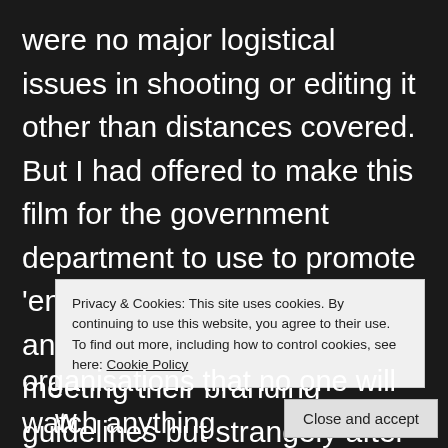were no major logistical issues in shooting or editing it other than distances covered. But I had offered to make this film for the government department to use to promote ‘environmental water’ for free and even went so far as meeting their branding guidelines but strangely after completing the film it was knocked back on the basis that it was “too long”. So I published it myself. If there were a ... a ... w ... organisations that no one will watch anything
Privacy & Cookies: This site uses cookies. By continuing to use this website, you agree to their use.
To find out more, including how to control cookies, see here: Cookie Policy
Close and accept